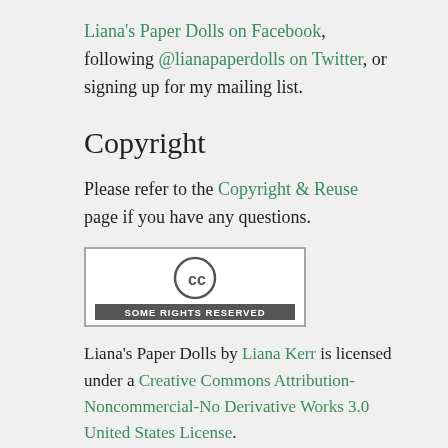Liana's Paper Dolls on Facebook, following @lianapaperdolls on Twitter, or signing up for my mailing list.
Copyright
Please refer to the Copyright & Reuse page if you have any questions.
[Figure (logo): Creative Commons 'Some Rights Reserved' badge — circular CC logo above text reading SOME RIGHTS RESERVED]
Liana's Paper Dolls by Liana Kerr is licensed under a Creative Commons Attribution-Noncommercial-No Derivative Works 3.0 United States License.
Based on a work at lianaspaperdolls.com.
Categories
Costumes